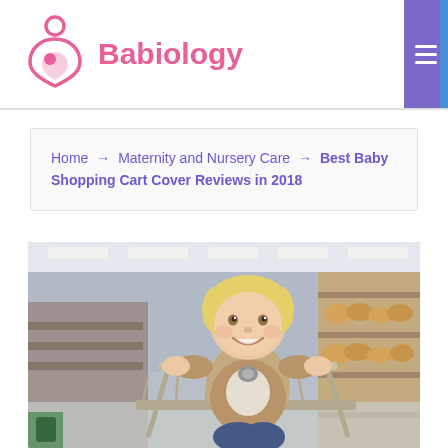Babiology
Home → Maternity and Nursery Care → Best Baby Shopping Cart Cover Reviews in 2018
[Figure (photo): A smiling toddler with blonde hair sitting in a grocery store shopping cart, wearing a tan jacket, with store shelves and bread products visible in the background.]